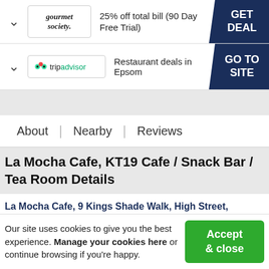[Figure (logo): Gourmet Society logo with text '25% off total bill (90 Day Free Trial)' and GET DEAL button]
[Figure (logo): TripAdvisor logo with text 'Restaurant deals in Epsom' and GO TO SITE button]
About | Nearby | Reviews
La Mocha Cafe, KT19 Cafe / Snack Bar / Tea Room Details
La Mocha Cafe, 9 Kings Shade Walk, High Street, Epsom, KT19 8EB
Our site uses cookies to give you the best experience. Manage your cookies here or continue browsing if you're happy.